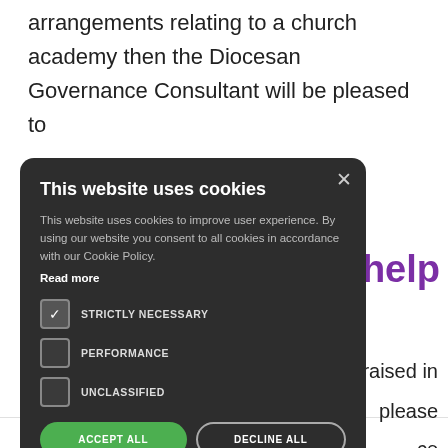arrangements relating to a church academy then the Diocesan Governance Consultant will be pleased to
[Figure (screenshot): Cookie consent modal dialog on a dark background overlay. Title: 'This website uses cookies'. Body text explains cookie usage and policy. Options: STRICTLY NECESSARY (checked), PERFORMANCE (unchecked), UNCLASSIFIED (unchecked). Buttons: ACCEPT ALL (green), DECLINE ALL (outline). Show details link at bottom.]